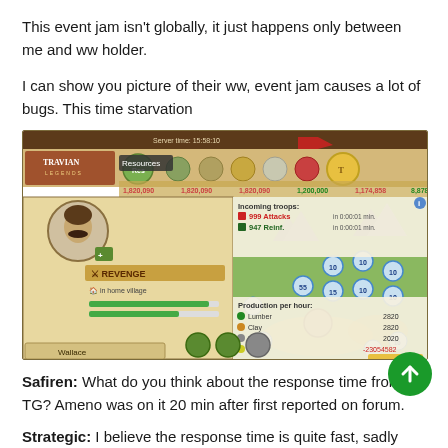This event jam isn't globally, it just happens only between me and ww holder.
I can show you picture of their ww, event jam causes a lot of bugs. This time starvation
[Figure (screenshot): Travian Legends game screenshot showing the REVENGE tribe profile, Wallace village, resource bar with highlighted Resources icon, map view with numbered tiles, Incoming troops panel showing 999 Attacks and 947 Reinf., and Production per hour panel showing Lumber 2820, Clay 2820, Iron 2020, Crop -23054582 with +98% bonus.]
Safiren: What do you think about the response time from TG? Ameno was on it 20 min after first reported on forum.
Strategic: I believe the response time is quite fast, sadly